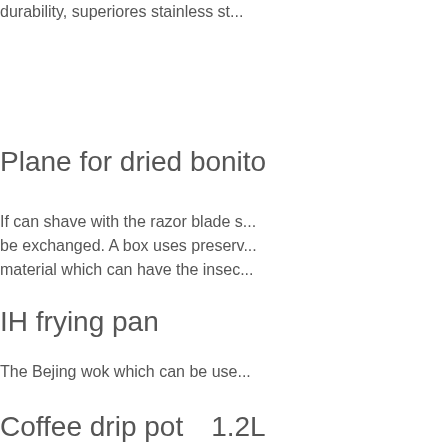durability, superiores stainless st...
Plane for dried bonito
If can shave with the razor blade s... be exchanged. A box uses preserv... material which can have the insec...
IH frying pan
The Bejing wok which can be use...
Coffee drip pot　1.2L